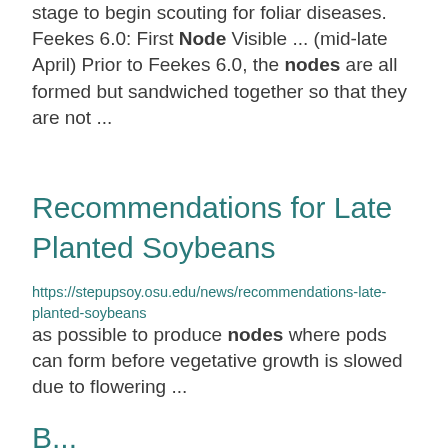stage to begin scouting for foliar diseases. Feekes 6.0: First Node Visible ... (mid-late April) Prior to Feekes 6.0, the nodes are all formed but sandwiched together so that they are not ...
Recommendations for Late Planted Soybeans
https://stepupsoy.osu.edu/news/recommendations-late-planted-soybeans
as possible to produce nodes where pods can form before vegetative growth is slowed due to flowering ...
B...